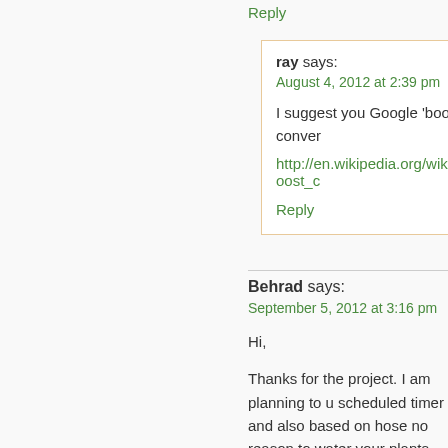Reply
ray says:
August 4, 2012 at 2:39 pm

I suggest you Google 'boost conver
http://en.wikipedia.org/wiki/Boost_c

Reply
Behrad says:
September 5, 2012 at 3:16 pm

Hi,

Thanks for the project. I am planning to u scheduled timer and also based on hose no reason to water your plants.

Just a question. Do you think there is any code on the correct frequency to your circ

Reply